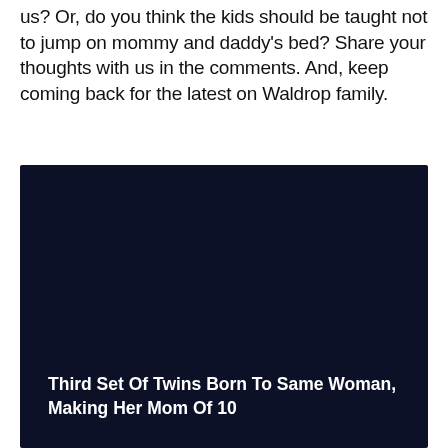us? Or, do you think the kids should be taught not to jump on mommy and daddy's bed? Share your thoughts with us in the comments. And, keep coming back for the latest on Waldrop family.
[Figure (photo): Dark navy/black image card with white bold text overlay at the bottom reading 'Third Set Of Twins Born To Same Woman, Making Her Mom Of 10']
Third Set Of Twins Born To Same Woman, Making Her Mom Of 10